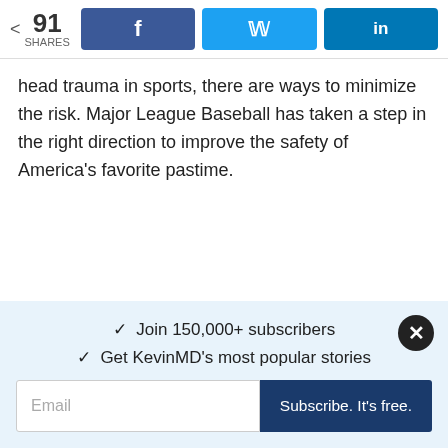< 91 SHARES | Facebook share | Twitter share | LinkedIn share
head trauma in sports, there are ways to minimize the risk. Major League Baseball has taken a step in the right direction to improve the safety of America's favorite pastime.
< navigation arrow left | > navigation arrow right
✓ Join 150,000+ subscribers
✓ Get KevinMD's most popular stories
Email | Subscribe. It's free.